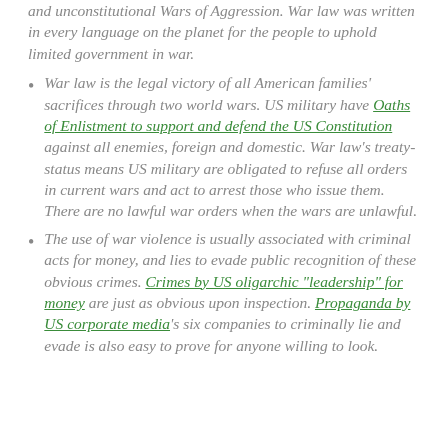and unconstitutional Wars of Aggression. War law was written in every language on the planet for the people to uphold limited government in war.
War law is the legal victory of all American families' sacrifices through two world wars. US military have Oaths of Enlistment to support and defend the US Constitution against all enemies, foreign and domestic. War law's treaty-status means US military are obligated to refuse all orders in current wars and act to arrest those who issue them. There are no lawful war orders when the wars are unlawful.
The use of war violence is usually associated with criminal acts for money, and lies to evade public recognition of these obvious crimes. Crimes by US oligarchic "leadership" for money are just as obvious upon inspection. Propaganda by US corporate media's six companies to criminally lie and evade is also easy to prove for anyone willing to look.